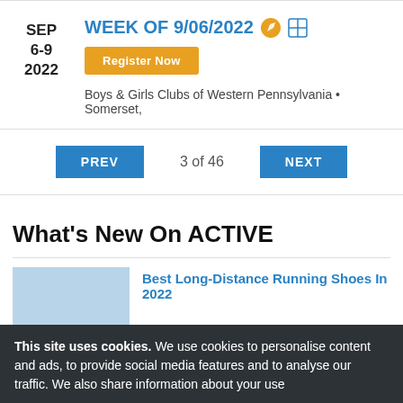SEP 6-9 2022
WEEK OF 9/06/2022
Register Now
Boys & Girls Clubs of Western Pennsylvania • Somerset,
PREV  3 of 46  NEXT
What's New On ACTIVE
Best Long-Distance Running Shoes In 2022
This site uses cookies. We use cookies to personalise content and ads, to provide social media features and to analyse our traffic. We also share information about your use